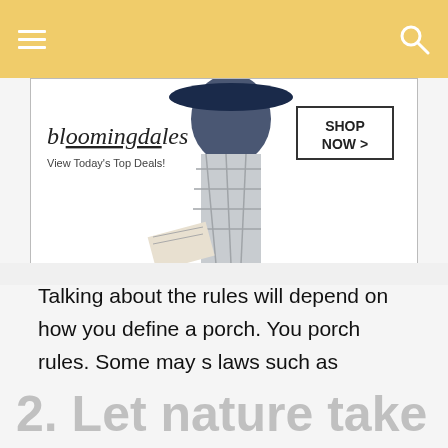[Figure (photo): Bloomingdale's advertisement banner showing a woman in a wide-brim hat with 'View Today's Top Deals!' text and a SHOP NOW button]
Talking about the rules will depend on how you define a porch. You porch rules. Some may s laws such as reading a b seasons, etc. when you have these rules in a place, it plays a role for decoration.
[Figure (screenshot): Black video overlay with a loading spinner circle]
2. Let nature take